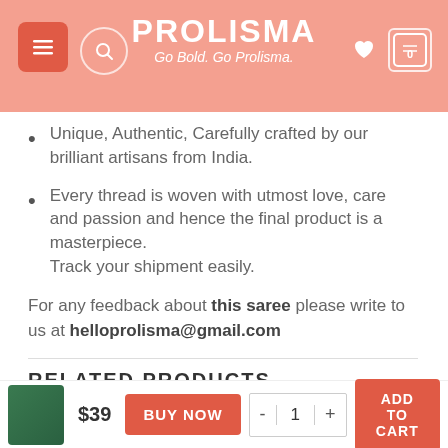PROLISMA — Go Bold. Go Prolisma.
Unique, Authentic, Carefully crafted by our brilliant artisans from India.
Every thread is woven with utmost love, care and passion and hence the final product is a masterpiece.
Track your shipment easily.
For any feedback about this saree please write to us at helloprolisma@gmail.com
RELATED PRODUCTS
[Figure (photo): Two related product thumbnail images side by side]
$39  BUY NOW  - 1 +  ADD TO CART